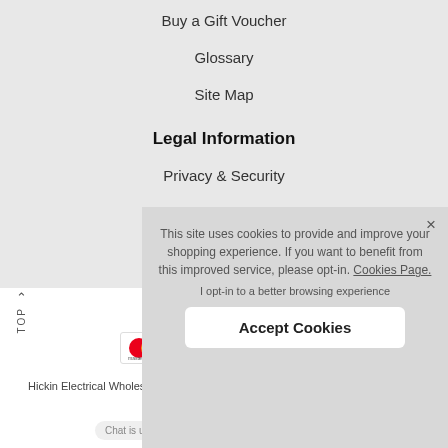Buy a Gift Voucher
Glossary
Site Map
Legal Information
Privacy & Security
Terms & Conditions
Delivery & Returns
This site uses cookies to provide and improve your shopping experience. If you want to benefit from this improved service, please opt-in. Cookies Page.
I opt-in to a better browsing experience
Accept Cookies
© 202...
Hickin Electrical Wholesa...
Mart...
Company Re...
Chat is unavailable